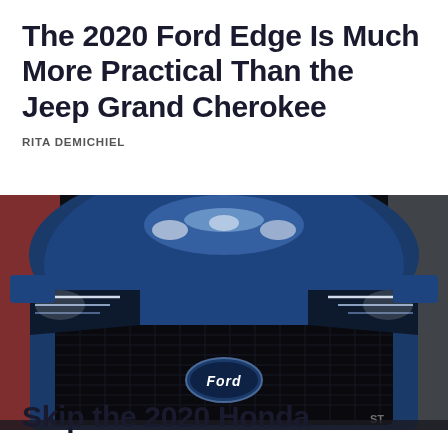The 2020 Ford Edge Is Much More Practical Than the Jeep Grand Cherokee
RITA DEMICHIEL
[Figure (photo): Front view of a blue 2020 Ford Edge ST at an auto show, featuring LED headlights and black mesh grille with Ford oval logo. Dark background with showroom lighting reflecting off the hood.]
Skip the 2020 Honda